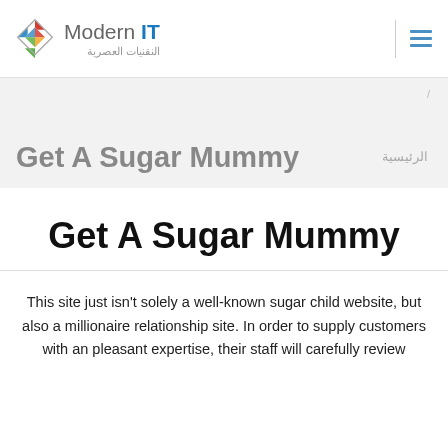[Figure (logo): Modern IT logo with colorful diamond/rhombus icon and text 'Modern IT' with Arabic subtitle النقنيات العصرية]
Modern IT النقنيات العصرية
Get A Sugar Mummy الرئيسية
Get A Sugar Mummy
This site just isn't solely a well-known sugar child website, but also a millionaire relationship site. In order to supply customers with an pleasant expertise, their staff will carefully review